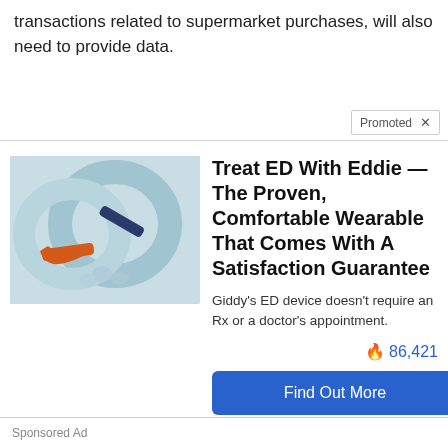transactions related to supermarket purchases, will also need to provide data.
Promoted ×
[Figure (photo): Photo of light blue wearable ring-shaped medical devices with orange and navy blue straps/bands]
Treat ED With Eddie — The Proven, Comfortable Wearable That Comes With A Satisfaction Guarantee
Giddy's ED device doesn't require an Rx or a doctor's appointment.
🔥 86,421
Find Out More
Sponsored Ad